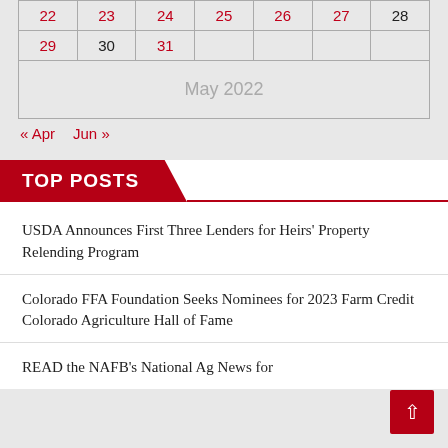| 22 | 23 | 24 | 25 | 26 | 27 | 28 |
| --- | --- | --- | --- | --- | --- | --- |
| 29 | 30 | 31 |  |  |  |  |
| May 2022 |  |  |  |  |  |  |
« Apr   Jun »
TOP POSTS
USDA Announces First Three Lenders for Heirs' Property Relending Program
Colorado FFA Foundation Seeks Nominees for 2023 Farm Credit Colorado Agriculture Hall of Fame
READ the NAFB's National Ag News for